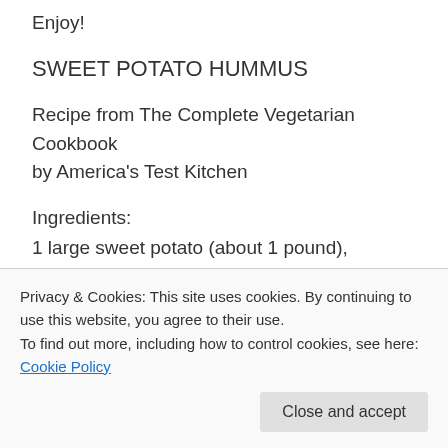Enjoy!
SWEET POTATO HUMMUS
Recipe from The Complete Vegetarian Cookbook by America's Test Kitchen
Ingredients:
1 large sweet potato (about 1 pound), unpeeled
¾ cup water
¼ cup lemon juice (2 lemons)
¼ cup tahini
Privacy & Cookies: This site uses cookies. By continuing to use this website, you agree to their use.
To find out more, including how to control cookies, see here: Cookie Policy
1 teaspoon salt